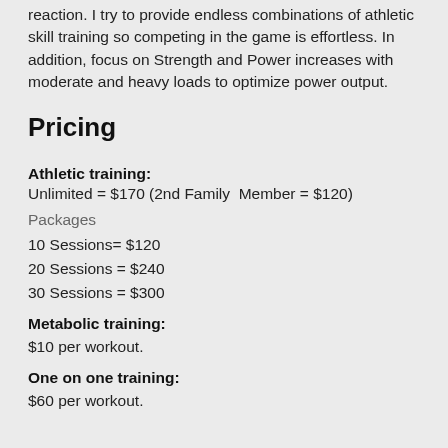reaction. I try to provide endless combinations of athletic skill training so competing in the game is effortless. In addition, focus on Strength and Power increases with moderate and heavy loads to optimize power output.
Pricing
Athletic training:
Unlimited = $170 (2nd Family  Member = $120)
Packages
10 Sessions= $120
20 Sessions = $240
30 Sessions = $300
Metabolic training:
$10 per workout.
One on one training:
$60 per workout.